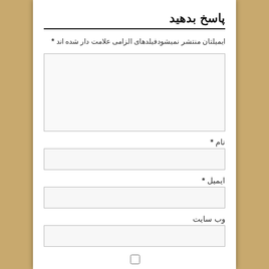پاسخ بدهید
ایمیلتان منتشر نمیشودفیلدهای الزامی علامت دار شده اند *
[Figure (other): Large text area input field for comment/reply]
نام *
[Figure (other): Text input field for name]
ایمیل *
[Figure (other): Text input field for email]
وب سایت
[Figure (other): Text input field for website]
[Figure (other): Checkbox input]